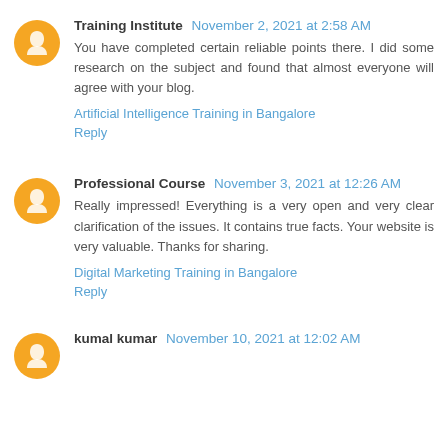Training Institute November 2, 2021 at 2:58 AM
You have completed certain reliable points there. I did some research on the subject and found that almost everyone will agree with your blog.
Artificial Intelligence Training in Bangalore
Reply
Professional Course November 3, 2021 at 12:26 AM
Really impressed! Everything is a very open and very clear clarification of the issues. It contains true facts. Your website is very valuable. Thanks for sharing.
Digital Marketing Training in Bangalore
Reply
kumal kumar November 10, 2021 at 12:02 AM